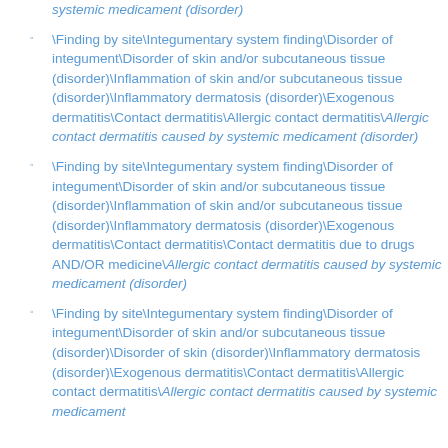systemic medicament (disorder) [partial, italic, top of page]
\Finding by site\Integumentary system finding\Disorder of integument\Disorder of skin and/or subcutaneous tissue (disorder)\Inflammation of skin and/or subcutaneous tissue (disorder)\Inflammatory dermatosis (disorder)\Exogenous dermatitis\Contact dermatitis\Allergic contact dermatitis\Allergic contact dermatitis caused by systemic medicament (disorder)
\Finding by site\Integumentary system finding\Disorder of integument\Disorder of skin and/or subcutaneous tissue (disorder)\Inflammation of skin and/or subcutaneous tissue (disorder)\Inflammatory dermatosis (disorder)\Exogenous dermatitis\Contact dermatitis\Contact dermatitis due to drugs AND/OR medicine\Allergic contact dermatitis caused by systemic medicament (disorder)
\Finding by site\Integumentary system finding\Disorder of integument\Disorder of skin and/or subcutaneous tissue (disorder)\Disorder of skin (disorder)\Inflammatory dermatosis (disorder)\Exogenous dermatitis\Contact dermatitis\Allergic contact dermatitis\Allergic contact dermatitis caused by systemic medicament (disorder) [partial]